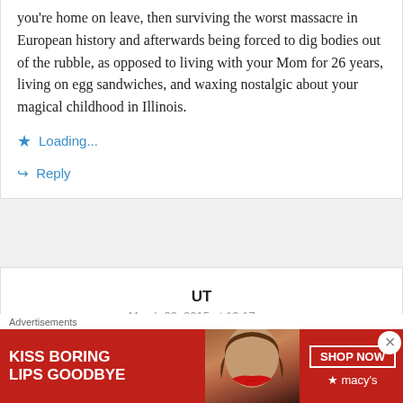you're home on leave, then surviving the worst massacre in European history and afterwards being forced to dig bodies out of the rubble, as opposed to living with your Mom for 26 years, living on egg sandwiches, and waxing nostalgic about your magical childhood in Illinois.
Loading...
Reply
UT
March 20, 2015 at 10:17 pm
Advertisements
[Figure (illustration): Macy's advertisement banner with red background showing 'KISS BORING LIPS GOODBYE' text, a woman's face with red lips, and a 'SHOP NOW' button with Macy's logo]